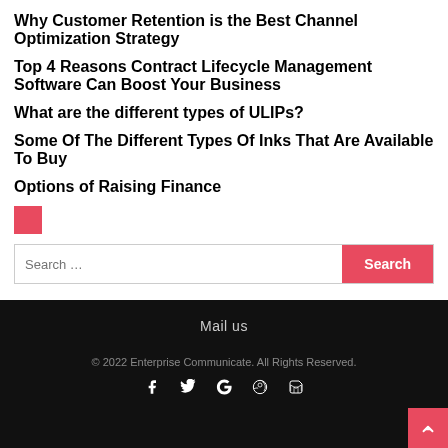Why Customer Retention is the Best Channel Optimization Strategy
Top 4 Reasons Contract Lifecycle Management Software Can Boost Your Business
What are the different types of ULIPs?
Some Of The Different Types Of Inks That Are Available To Buy
Options of Raising Finance
[Figure (other): Red square decorative element]
Search …
Mail us
© 2022 Enterprise Communicate. All Rights Reserved.